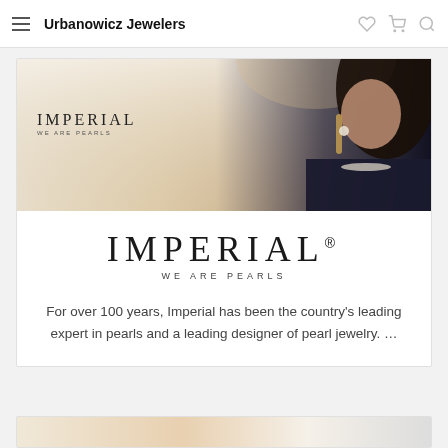Urbanowicz Jewelers
[Figure (photo): Imperial Pearls banner image showing woman wearing pearl necklace and earrings with Imperial WE ARE PEARLS logo]
[Figure (logo): Imperial WE ARE PEARLS large logo]
For over 100 years, Imperial has been the country's leading expert in pearls and a leading designer of pearl jewelry. ...
[Figure (photo): Partial view of another jewelry card at bottom of page]